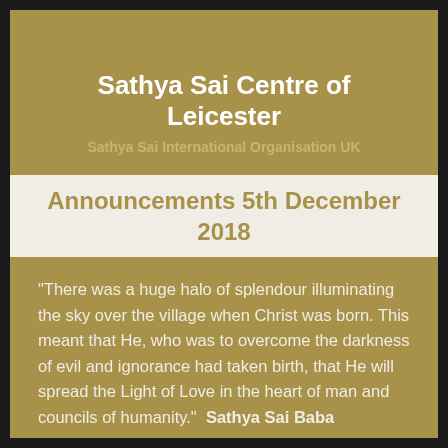Sathya Sai Centre of Leicester
Sathya Sai International Organisation UK
Announcements 5th December 2018
"There was a huge halo of splendour illuminating the sky over the village when Christ was born. This meant that He, who was to overcome the darkness of evil and ignorance had taken birth, that He will spread the Light of Love in the heart of man and councils of humanity."  Sathya Sai Baba